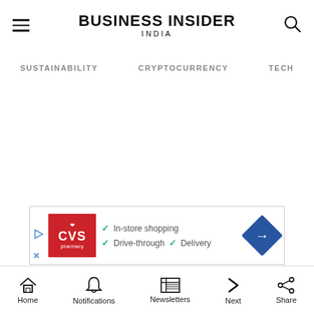BUSINESS INSIDER INDIA
SUSTAINABILITY  CRYPTOCURRENCY  TECH
[Figure (screenshot): CVS Pharmacy advertisement banner with in-store shopping, drive-through, and delivery features]
Home  Notifications  Newsletters  Next  Share